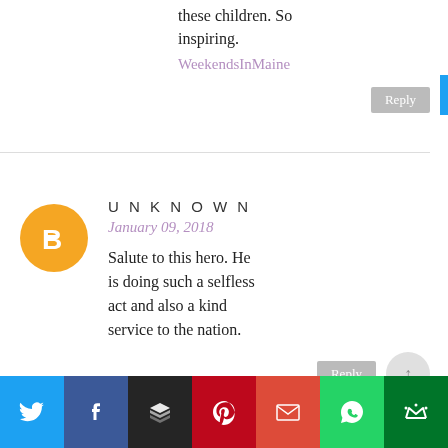these children. So inspiring.
WeekendsInMaine
UNKNOWN
January 09, 2018
Salute to this hero. He is doing such a selfless act and also a kind service to the nation.
[Figure (infographic): Social share bar at bottom with Twitter, Facebook, Buffer/layers, Pinterest, Gmail, WhatsApp, and crown icons]